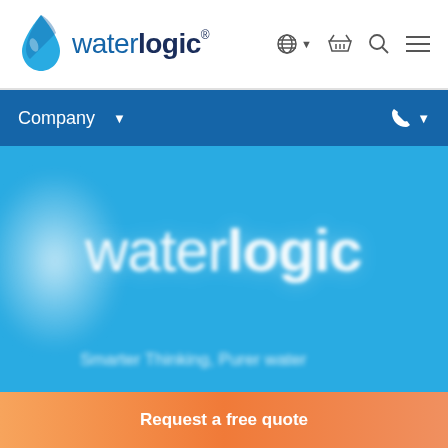[Figure (logo): Waterlogic logo with water drop icon in blue tones on white header navigation bar]
Company ∨   [phone icon] ∨
[Figure (screenshot): Waterlogic hero banner image with blurred waterlogic logo on cyan/blue background with large white waterlogic text and blurred tagline at bottom]
Request a free quote